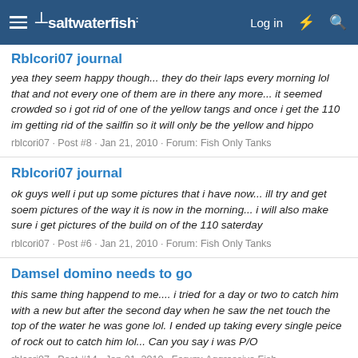saltwaterfish (logo/navigation header)
Rblcori07 journal
yea they seem happy though... they do their laps every morning lol that and not every one of them are in there any more... it seemed crowded so i got rid of one of the yellow tangs and once i get the 110 im getting rid of the sailfin so it will only be the yellow and hippo
rblcori07 · Post #8 · Jan 21, 2010 · Forum: Fish Only Tanks
Rblcori07 journal
ok guys well i put up some pictures that i have now... ill try and get soem pictures of the way it is now in the morning... i will also make sure i get pictures of the build on of the 110 saterday
rblcori07 · Post #6 · Jan 21, 2010 · Forum: Fish Only Tanks
Damsel domino needs to go
this same thing happend to me.... i tried for a day or two to catch him with a new but after the second day when he saw the net touch the top of the water he was gone lol. I ended up taking every single peice of rock out to catch him lol... Can you say i was P/O
rblcori07 · Post #14 · Jan 21, 2010 · Forum: Aggressive Fish